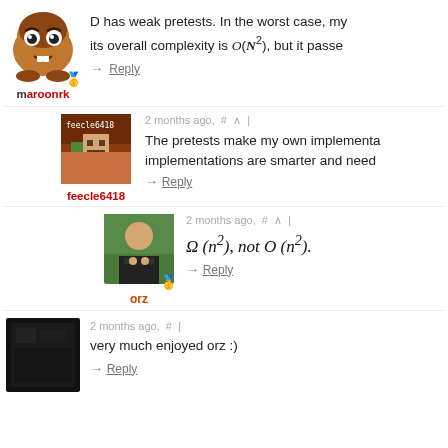[Figure (photo): Goomba avatar with badge, username maroonrk in bold red with 'm' in black]
D has weak pretests. In the worst case, my its overall complexity is O(N²), but it passe
→ Reply
[Figure (photo): Minecraft avatar labeled feecle6418, username feecle6418 in red]
2 months ago, # ∧ |
The pretests make my own implementa implementations are smarter and need
→ Reply
[Figure (photo): Photo of young man, username orz in orange with badge]
2 months ago, # ∧ |
→ Reply
[Figure (photo): Dark/black texture avatar, username partially visible]
2 months ago, # |
very much enjoyed orz :)
→ Reply